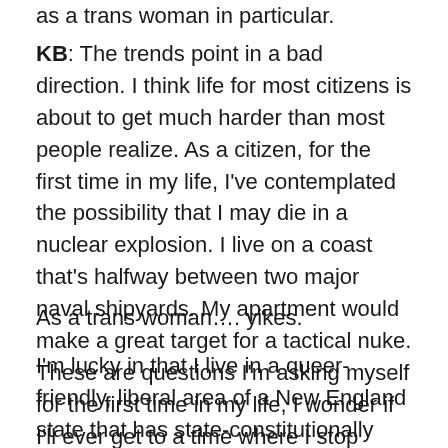as a trans woman in particular.
KB: The trends point in a bad direction. I think life for most citizens is about to get much harder than most people realize. As a citizen, for the first time in my life, I've contemplated the possibility that I may die in a nuclear explosion. I live on a coast that's halfway between two major naval shipyards. My apartment would make a great target for a tactical nuke. These are questions I'm asking myself for the first time in my life, I wonder if I'll ever get to a time where I stop asking these questions.
As a trans woman…. yikes.
I'm lucky in that I live in a queer-friendly, liberal area of a New England state that has state-constitutionally enshrined trans protections. Additionally, those protections have survived two statewide referendums and have been